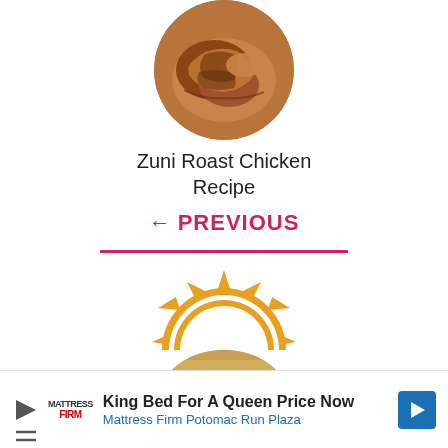[Figure (photo): Circular cropped photo of roast chicken on a plate, top of page]
Zuni Roast Chicken Recipe
← PREVIOUS
[Figure (logo): Sun/sunrise icon in orange/amber color, used as site logo or section divider]
[Figure (photo): Circular cropped photo of a food dish (creamy/cheesy), partially visible at bottom]
King Bed For A Queen Price Now
Mattress Firm Potomac Run Plaza